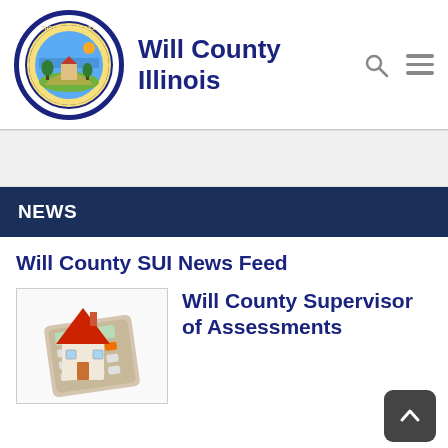Will County Illinois
NEWS
Will County SUI News Feed
[Figure (illustration): 3D illustration of a small house model with a red roof placed on top of a calculator]
Will County Supervisor of Assessments